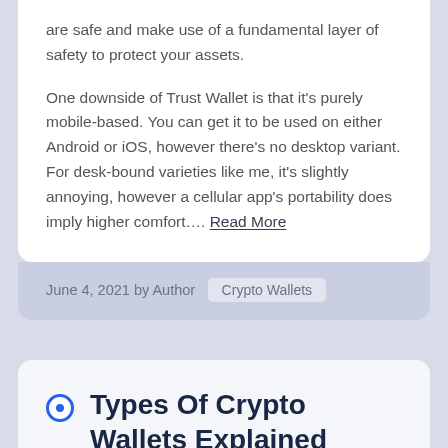are safe and make use of a fundamental layer of safety to protect your assets.
One downside of Trust Wallet is that it's purely mobile-based. You can get it to be used on either Android or iOS, however there's no desktop variant. For desk-bound varieties like me, it's slightly annoying, however a cellular app's portability does imply higher comfort.... Read More
June 4, 2021 by Author   Crypto Wallets
Types Of Crypto Wallets Explained
Your pockets lets you learn your balance, ship...